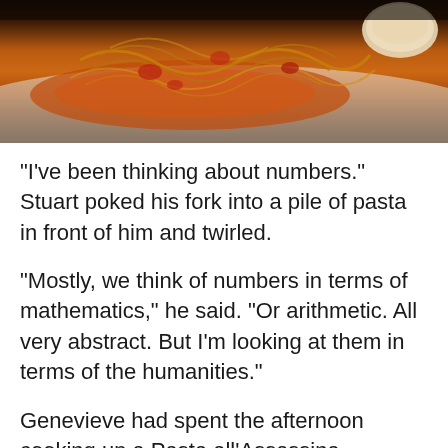[Figure (photo): Close-up photo of a plate of pasta (Pasta all'Assassina) with tomato sauce, served on a white plate, with a piece of bread visible in the upper right corner.]
“I’ve been thinking about numbers.” Stuart poked his fork into a pile of pasta in front of him and twirled.
“Mostly, we think of numbers in terms of mathematics,” he said. “Or arithmetic. All very abstract. But I’m looking at them in terms of the humanities.”
Genevieve had spent the afternoon cooking up a Pasta all’Assassina, something she had just learned from YouTube. It piled up on our plates in small pyramids of spaghetti.
“You know how there are these sequences of numbers in math? Like 2, 4, 8, 16, 32, 64, 128, 256 and so on. Or the Fibonacci Series: 1, 2, 3, 5, 8, 13 — you know. Logical